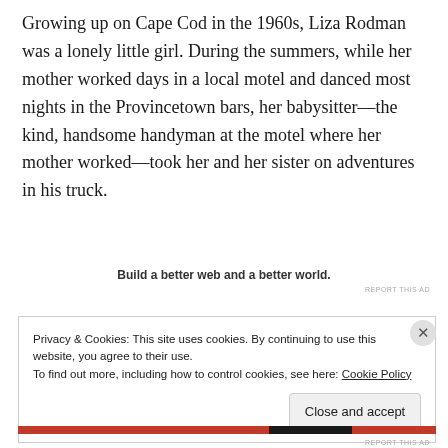Growing up on Cape Cod in the 1960s, Liza Rodman was a lonely little girl. During the summers, while her mother worked days in a local motel and danced most nights in the Provincetown bars, her babysitter—the kind, handsome handyman at the motel where her mother worked—took her and her sister on adventures in his truck.
Build a better web and a better world.
REPORT THIS AD
Privacy & Cookies: This site uses cookies. By continuing to use this website, you agree to their use.
To find out more, including how to control cookies, see here: Cookie Policy
Close and accept